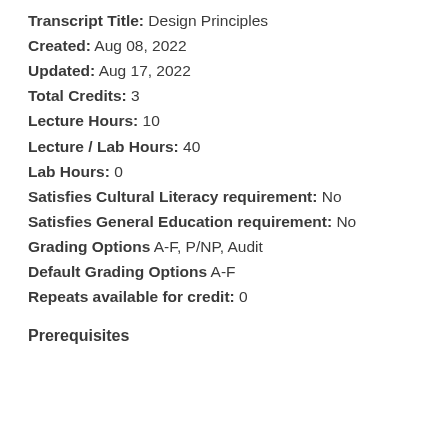Transcript Title:  Design Principles
Created:  Aug 08, 2022
Updated:  Aug 17, 2022
Total Credits:  3
Lecture Hours:  10
Lecture / Lab Hours:  40
Lab Hours:  0
Satisfies Cultural Literacy requirement:  No
Satisfies General Education requirement:  No
Grading Options  A-F, P/NP, Audit
Default Grading Options  A-F
Repeats available for credit:  0
Prerequisites